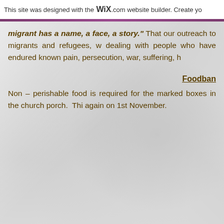This site was designed with the WIX.com website builder. Create yo
migrant has a name, a face, a story." That our outreach to migrants and refugees, w dealing with people who have endured known pain, persecution, war, suffering, h
Foodban
Non – perishable food is required for the marked boxes in the church porch. Thi again on 1st November.